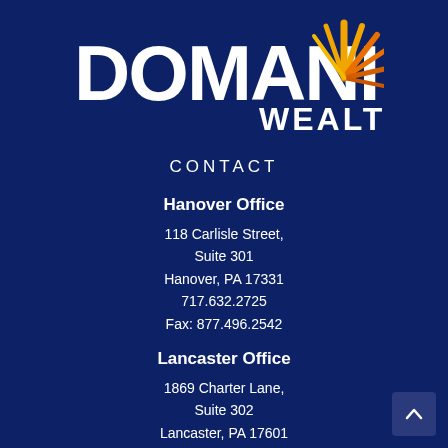[Figure (logo): Domani Wealth logo — white bold 'DOMANI' text with a sunburst icon in orange and gold, and 'WEALTH' in white below the sunburst]
CONTACT
Hanover Office
118 Carlisle Street,
Suite 301
Hanover, PA 17331
717.632.2725
Fax: 877.496.2542
Lancaster Office
1869 Charter Lane,
Suite 302
Lancaster, PA 17601
717.393.9721